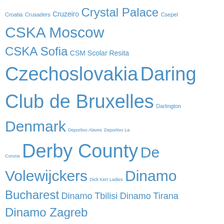[Figure (infographic): Tag cloud of football/soccer teams and countries, displayed in varying font sizes in blue color on white background. Terms include Croatia, Crusaders, Cruzeiro, Crystal Palace, Csepel, CSKA Moscow, CSKA Sofia, CSM Scolar Resita, Czechoslovakia, Daring Club de Bruxelles, Darlington, Denmark, Deportivo Alaves, Deportivo La Coruna, Derby County, De Volewijckers, Dick Kerr Ladies, Dinamo Bucharest, Dinamo Tbilisi, Dinamo Tirana, Dinamo Zagreb, Dolphin FC, DOS Utrecht, Dresdner SC, Drumcondra, Duisburger SPV, Dukla Prague, Dumbarton, Dunaujvaros, Dundalk, Dundee, Dundee United, Dunfermline, DWS Amsterdam, Dynamo Dresden, Dynamo Kiev, Dynamo Moscow, East Germany, EDOSZ, Eintracht Braunschweig, Eintracht Frankfurt, Elche, Elinkwijk Utrecht, El Salvador, England, Espana FC, Espanol, Estudiantes de La Plata, Everton, FC Brussels, FC Cantonal Neuchatel, FC Etar, FC Koln, FC Porto, FC Swarovski Tirol, FC Tirol]